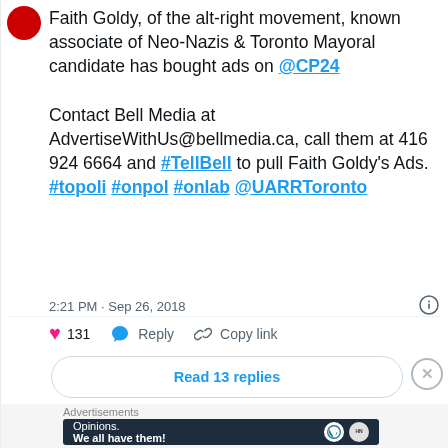Faith Goldy, of the alt-right movement, known associate of Neo-Nazis & Toronto Mayoral candidate has bought ads on @CP24

Contact Bell Media at AdvertiseWithUs@bellmedia.ca, call them at 416 924 6664 and #TellBell to pull Faith Goldy's Ads. #topoli #onpol #onlab @UARRToronto
2:21 PM · Sep 26, 2018
131  Reply  Copy link
Read 13 replies
Advertisements
[Figure (infographic): WordPress advertisement banner with dark navy background. Text reads 'Opinions. We all have them!' with WordPress and another circular logo on the right.]